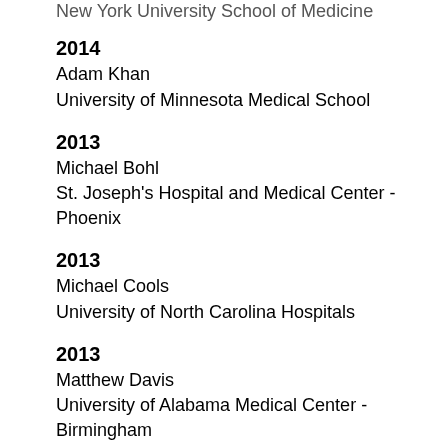New York University School of Medicine
2014
Adam Khan
University of Minnesota Medical School
2013
Michael Bohl
St. Joseph's Hospital and Medical Center - Phoenix
2013
Michael Cools
University of North Carolina Hospitals
2013
Matthew Davis
University of Alabama Medical Center - Birmingham
2013
Darryl Lau
University of California - San Francisco